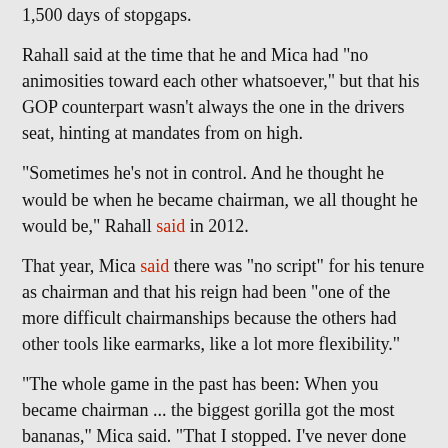1,500 days of stopgaps.
Rahall said at the time that he and Mica had "no animosities toward each other whatsoever," but that his GOP counterpart wasn't always the one in the drivers seat, hinting at mandates from on high.
"Sometimes he's not in control. And he thought he would be when he became chairman, we all thought he would be," Rahall said in 2012.
That year, Mica said there was "no script" for his tenure as chairman and that his reign had been "one of the more difficult chairmanships because the others had other tools like earmarks, like a lot more flexibility."
"The whole game in the past has been: When you became chairman ... the biggest gorilla got the most bananas," Mica said. "That I stopped. I've never done that."
Even so, at least back home in Florida, the congressman's involvement in transportation policy has been heralded as a win for his constituents.